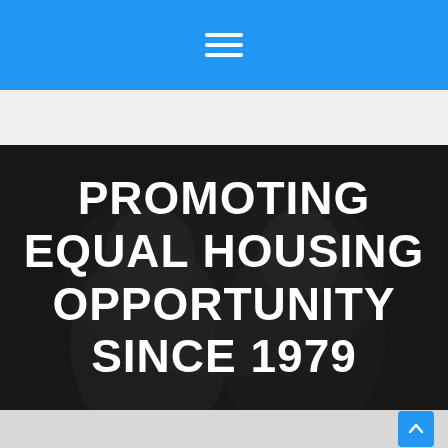Navigation menu icon (hamburger)
[Figure (photo): Dark overlay photo of people (appears to be two individuals in dark tones) used as hero background image]
PROMOTING EQUAL HOUSING OPPORTUNITY SINCE 1979